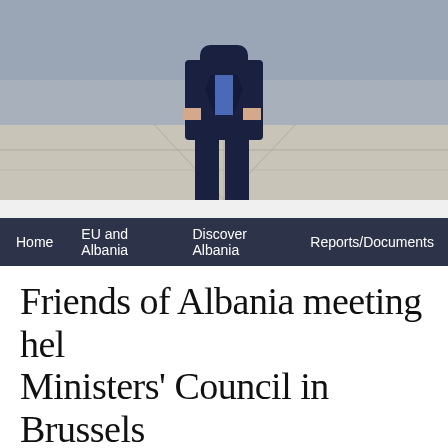[Figure (photo): Photo of a person in a dark navy suit standing in what appears to be an official building interior]
Home  EU and Albania  Discover Albania  Reports/Documents
Friends of Albania meeting held at Ministers' Council in Brussels
Prime Minister Edi Ra... attended the Friends of... an initiative of Ministers... and Sebastian Kurz.
Present at this meeting... of EU member countri... Affairs Frederica Mogh... Policy & Enlargement M...